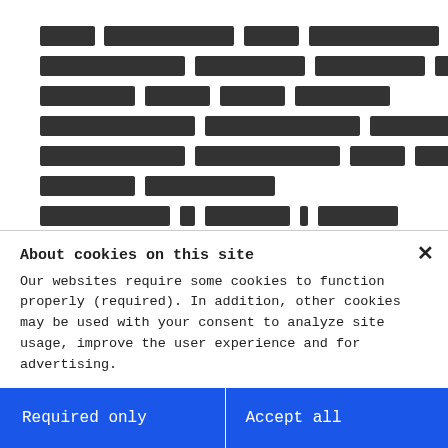[Figure (screenshot): Background page content with Thai/script text rendered as black block characters, partially visible behind a cookie consent modal overlay.]
About cookies on this site
Our websites require some cookies to function properly (required). In addition, other cookies may be used with your consent to analyze site usage, improve the user experience and for advertising.

For more information, please review your Cookie preferences options and IBM's privacy statement.
Required only
Accept all